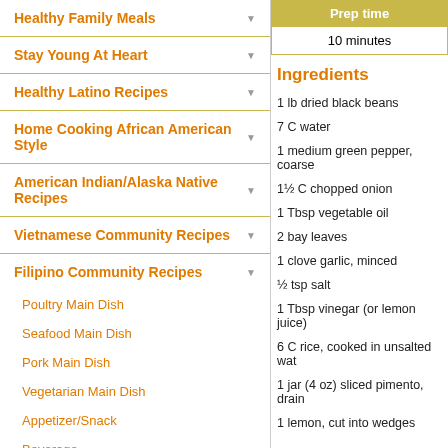Healthy Family Meals
Stay Young At Heart
Healthy Latino Recipes
Home Cooking African American Style
American Indian/Alaska Native Recipes
Vietnamese Community Recipes
Filipino Community Recipes
Poultry Main Dish
Seafood Main Dish
Pork Main Dish
Vegetarian Main Dish
Appetizer/Snack
Beverage
Dessert
Soups & Stews
| Prep time |
| --- |
| 10 minutes |
Ingredients
1 lb dried black beans
7 C water
1 medium green pepper, coarse
1½ C chopped onion
1 Tbsp vegetable oil
2 bay leaves
1 clove garlic, minced
½ tsp salt
1 Tbsp vinegar (or lemon juice)
6 C rice, cooked in unsalted wat
1 jar (4 oz) sliced pimento, drain
1 lemon, cut into wedges